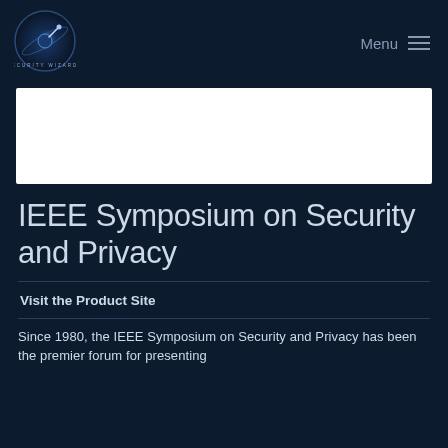[Figure (logo): Security Wizards circular logo with planet/comet graphic]
Menu ≡
[Figure (photo): White banner/image placeholder]
IEEE Symposium on Security and Privacy
Visit the Product Site
Since 1980, the IEEE Symposium on Security and Privacy has been the premier forum for presenting